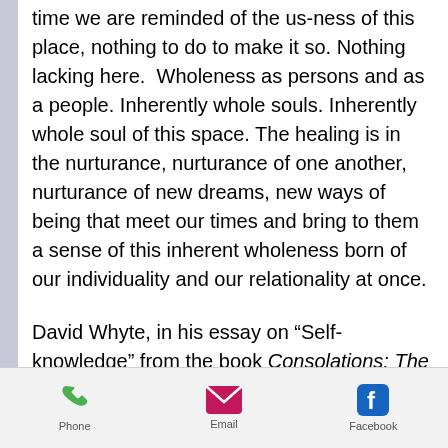time we are reminded of the us-ness of this place, nothing to do to make it so. Nothing lacking here.  Wholeness as persons and as a people. Inherently whole souls. Inherently whole soul of this space. The healing is in the nurturance, nurturance of one another, nurturance of new dreams, new ways of being that meet our times and bring to them a sense of this inherent wholeness born of our individuality and our relationality at once.

David Whyte, in his essay on “Self-knowledge” from the book Consolations: The Solace, Nourishment
Phone  Email  Facebook